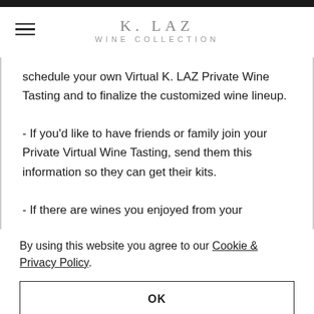K. LAZ WINE COLLECTION
schedule your own Virtual K. LAZ Private Wine Tasting and to finalize the customized wine lineup.
- If you'd like to have friends or family join your Private Virtual Wine Tasting, send them this information so they can get their kits.
- If there are wines you enjoyed from your
By using this website you agree to our Cookie & Privacy Policy.
OK